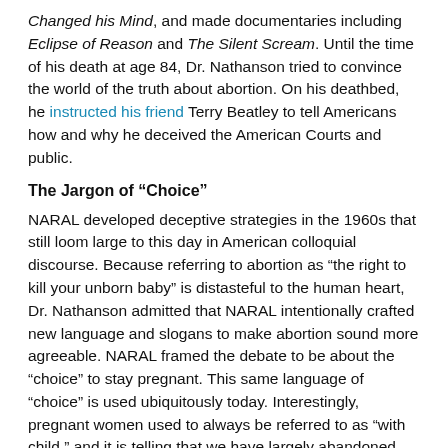Changed his Mind, and made documentaries including Eclipse of Reason and The Silent Scream. Until the time of his death at age 84, Dr. Nathanson tried to convince the world of the truth about abortion. On his deathbed, he instructed his friend Terry Beatley to tell Americans how and why he deceived the American Courts and public.
The Jargon of “Choice”
NARAL developed deceptive strategies in the 1960s that still loom large to this day in American colloquial discourse. Because referring to abortion as “the right to kill your unborn baby” is distasteful to the human heart, Dr. Nathanson admitted that NARAL intentionally crafted new language and slogans to make abortion sound more agreeable. NARAL framed the debate to be about the “choice” to stay pregnant. This same language of “choice” is used ubiquitously today. Interestingly, pregnant women used to always be referred to as “with child,” and it is telling that we have largely abandoned that preposition in the English language today.
Lie, Lie, Lie
Dr. Nathanson took advantage of his accolades, knowing